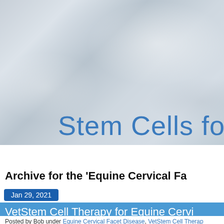[Figure (screenshot): Website header banner with cloudy light blue-grey background]
Stem Cells for Pets
HOME | About / Contact | Stem Cells 411 | Locate a Vet
Archive for the 'Equine Cervical Fa...
Jan 29, 2021
VetStem Cell Therapy for Equine Cervi...
Posted by Bob under Equine Cervical Facet Disease, VetStem Cell Therap...